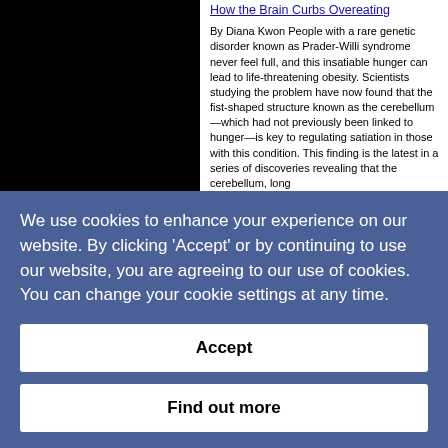[Figure (photo): Black image placeholder for article photo on the left side]
How the Brain Curbs Overeating
By Diana Kwon People with a rare genetic disorder known as Prader-Willi syndrome never feel full, and this insatiable hunger can lead to life-threatening obesity. Scientists studying the problem have now found that the fist-shaped structure known as the cerebellum—which had not previously been linked to hunger—is key to regulating satiation in those with this condition. This finding is the latest in a series of discoveries revealing that the cerebellum, long
We use cookies to enhance your experience on our website. By clicking 'Accept' or by continuing to use our website, you are agreeing to our use of cookies. You can change your cookie settings at any time.
Accept
Find out more